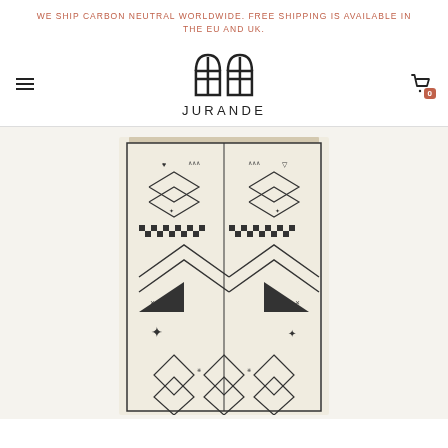WE SHIP CARBON NEUTRAL WORLDWIDE. FREE SHIPPING IS AVAILABLE IN THE EU AND UK.
[Figure (logo): Jurande brand logo with arch/window icon above the text JURANDE]
[Figure (photo): A decorative Moroccan Beni Ouarain style rug with black geometric patterns on an ivory/cream background, including chevrons, diamonds, triangles and symbolic motifs]